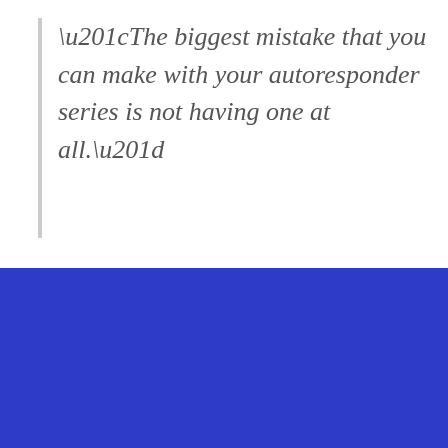“The biggest mistake that you can make with your autoresponder series is not having one at all.”
[Figure (illustration): Blue banner section with bold white quote text and colorful envelope illustration showing emails flying out of a laptop]